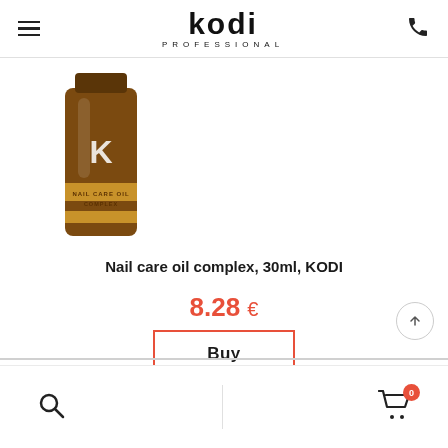kodi PROFESSIONAL
[Figure (photo): Kodi Professional Nail care oil complex bottle, 30ml, amber colored glass bottle with gold label]
Nail care oil complex, 30ml, KODI
8.28 €
Buy
Search | Cart (0)